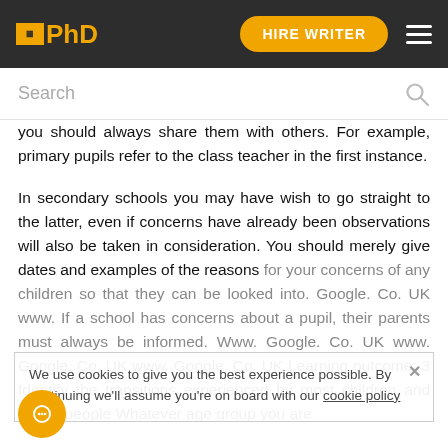IIPhD | HIRE WRITER
you should always share them with others. For example, primary pupils refer to the class teacher in the first instance.
In secondary schools you may have wish to go straight to the latter, even if concerns have already been observations will also be taken in consideration. You should merely give dates and examples of the reasons for your concerns of any children so that they can be looked into. Google. Co. UK www. If a school has concerns about a pupil, their parents must always be informed. Www. Google. Co. UK www. Google. Co. UK www. Google. Co. UK Learning outcome: 3 Identify the transitions experienced by most children and young people Whatever age group you are
We use cookies to give you the best experience possible. By continuing we'll assume you're on board with our cookie policy